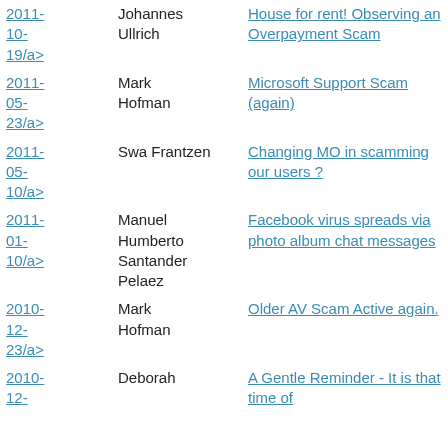| Date | Author | Title |
| --- | --- | --- |
| 2011-10-19/a> | Johannes Ullrich | House for rent! Observing an Overpayment Scam |
| 2011-05-23/a> | Mark Hofman | Microsoft Support Scam (again) |
| 2011-05-10/a> | Swa Frantzen | Changing MO in scamming our users ? |
| 2011-01-10/a> | Manuel Humberto Santander Pelaez | Facebook virus spreads via photo album chat messages |
| 2010-12-23/a> | Mark Hofman | Older AV Scam Active again. |
| 2010-12-... | Deborah | A Gentle Reminder - It is that time of |